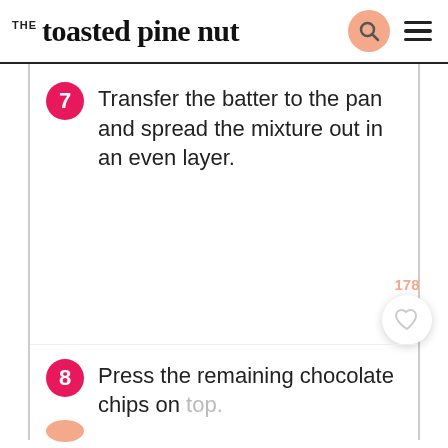THE toasted pine nut
7 Transfer the batter to the pan and spread the mixture out in an even layer.
8 Press the remaining chocolate chips on top.